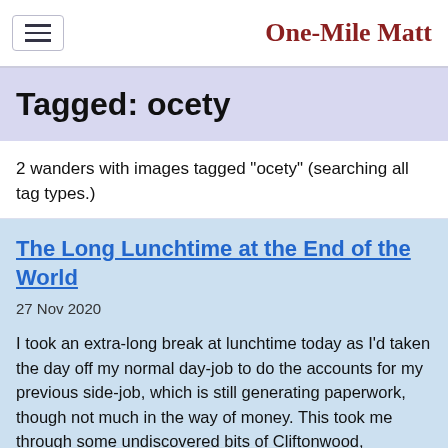One-Mile Matt
Tagged: ocety
2 wanders with images tagged "ocety" (searching all tag types.)
The Long Lunchtime at the End of the World
27 Nov 2020
I took an extra-long break at lunchtime today as I'd taken the day off my normal day-job to do the accounts for my previous side-job, which is still generating paperwork, though not much in the way of money. This took me through some undiscovered bits of Cliftonwood, including Worlds End Lane, which unexpectedly leads to White Hart Steps. That's certainly not where I expected the end of the world to lead to...